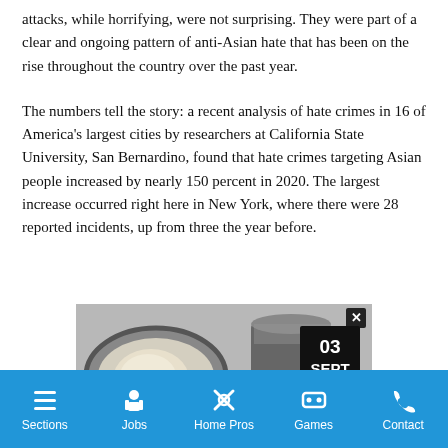attacks, while horrifying, were not surprising. They were part of a clear and ongoing pattern of anti-Asian hate that has been on the rise throughout the country over the past year.
The numbers tell the story: a recent analysis of hate crimes in 16 of America's largest cities by researchers at California State University, San Bernardino, found that hate crimes targeting Asian people increased by nearly 150 percent in 2020. The largest increase occurred right here in New York, where there were 28 reported incidents, up from three the year before.
[Figure (photo): Advertisement image showing food in a pan with a date overlay reading '03 SEPT' and a NY-themed logo, with a close button in the top right corner.]
Sections | Jobs | Home Pros | Games | Contact